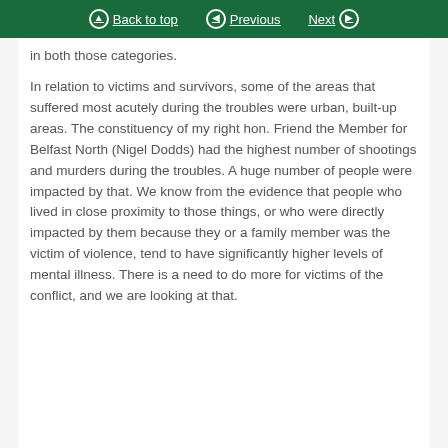Back to top  Previous  Next
in both those categories.

In relation to victims and survivors, some of the areas that suffered most acutely during the troubles were urban, built-up areas. The constituency of my right hon. Friend the Member for Belfast North (Nigel Dodds) had the highest number of shootings and murders during the troubles. A huge number of people were impacted by that. We know from the evidence that people who lived in close proximity to those things, or who were directly impacted by them because they or a family member was the victim of violence, tend to have significantly higher levels of mental illness. There is a need to do more for victims of the conflict, and we are looking at that.